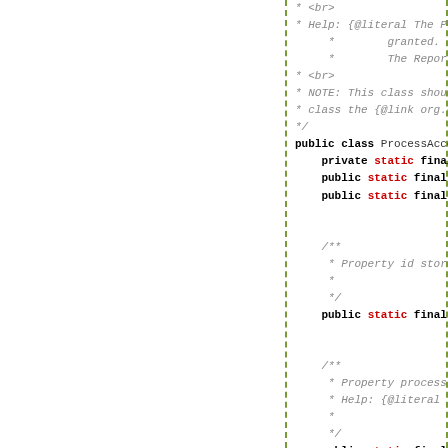[Figure (screenshot): Source code screenshot showing Java class code for ProcessAccess with Javadoc comments and field declarations. The left half of the page is blank with a dashed green vertical line separating it from the code on the right side.]